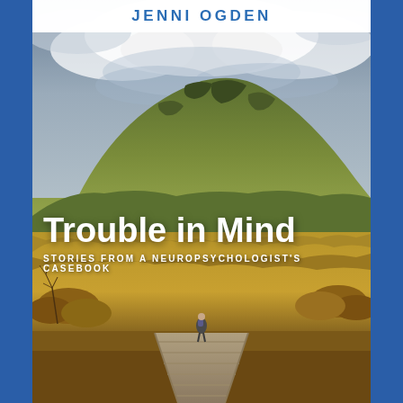JENNI OGDEN
[Figure (photo): A person walking along a wooden boardwalk path through golden tussock grasslands toward a green hill under a dramatic cloudy sky. The landscape appears to be New Zealand high country.]
Trouble in Mind
STORIES FROM A NEUROPSYCHOLOGIST'S CASEBOOK